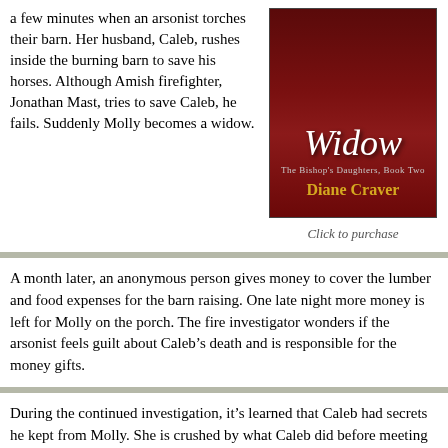a few minutes when an arsonist torches their barn. Her husband, Caleb, rushes inside the burning barn to save his horses. Although Amish firefighter, Jonathan Mast, tries to save Caleb, he fails. Suddenly Molly becomes a widow.
[Figure (illustration): Book cover for 'Widow: The Bishop's Daughters, Book Two' by Diane Craver, with dark red background and italic script title]
Click to purchase
A month later, an anonymous person gives money to cover the lumber and food expenses for the barn raising. One late night more money is left for Molly on the porch. The fire investigator wonders if the arsonist feels guilt about Caleb’s death and is responsible for the money gifts.
During the continued investigation, it’s learned that Caleb had secrets he kept from Molly. She is crushed by what Caleb did before meeting her. How could the love of her life kept his English past from her?